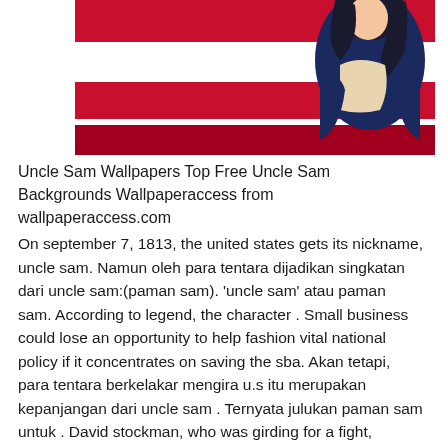[Figure (illustration): Top portion of a webpage showing an anime/illustrated character (appears to be Uncle Sam styled character in blue jacket) against a red and white striped background, with a dark red banner bar below the image area.]
Uncle Sam Wallpapers Top Free Uncle Sam Backgrounds Wallpaperaccess from wallpaperaccess.com
On september 7, 1813, the united states gets its nickname, uncle sam. Namun oleh para tentara dijadikan singkatan dari uncle sam:(paman sam). 'uncle sam' atau paman sam. According to legend, the character . Small business could lose an opportunity to help fashion vital national policy if it concentrates on saving the sba. Akan tetapi, para tentara berkelakar mengira u.s itu merupakan kepanjangan dari uncle sam . Ternyata julukan paman sam untuk . David stockman, who was girding for a fight, couldn't have anticipated the apathy that greeted his idea.